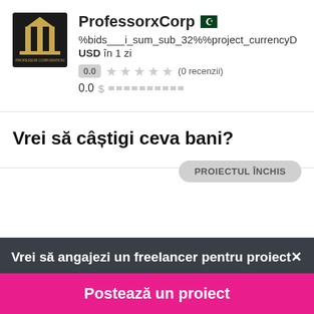[Figure (logo): ProfessorxCorp avatar/logo - dark background with stylized building/column icon and text]
ProfessorxCorp 🇵🇰
%bids___i_sum_sub_32%%project_currencyD USD în 1 zi
0.0 ★★★★★ (0 recenzii)
0.0 $ ██████████
Vrei să câștigi ceva bani?
PROIECTUL ÎNCHIS
Vrei să angajezi un freelancer pentru proiect✕
Postează un proiect